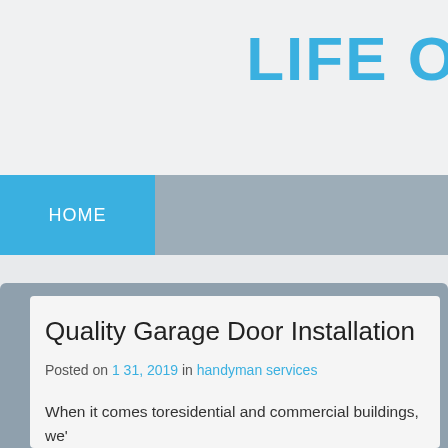LIFE O
HOME
Quality Garage Door Installation
Posted on 1 31, 2019 in handyman services
When it comes toresidential and commercial buildings, we' doors. We have skills in installing and repairing garage do Our garage door replacement Sandy UT technicians are qu